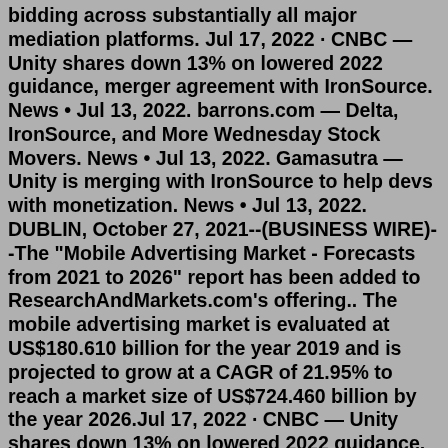bidding across substantially all major mediation platforms. Jul 17, 2022 · CNBC — Unity shares down 13% on lowered 2022 guidance, merger agreement with IronSource. News • Jul 13, 2022. barrons.com — Delta, IronSource, and More Wednesday Stock Movers. News • Jul 13, 2022. Gamasutra — Unity is merging with IronSource to help devs with monetization. News • Jul 13, 2022. DUBLIN, October 27, 2021--(BUSINESS WIRE)--The "Mobile Advertising Market - Forecasts from 2021 to 2026" report has been added to ResearchAndMarkets.com's offering.. The mobile advertising market is evaluated at US$180.610 billion for the year 2019 and is projected to grow at a CAGR of 21.95% to reach a market size of US$724.460 billion by the year 2026.Jul 17, 2022 · CNBC — Unity shares down 13% on lowered 2022 guidance, merger agreement with IronSource. News • Jul 13, 2022. barrons.com — Delta, IronSource, and More Wednesday Stock Movers. News • Jul 13, 2022. Gamasutra — Unity is merging with IronSource to help devs with